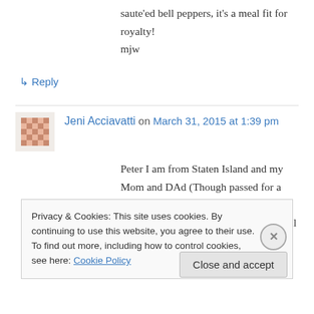saute'ed bell peppers, it's a meal fit for royalty! mjw
↳ Reply
Jeni Acciavatti on March 31, 2015 at 1:39 pm
Peter I am from Staten Island and my Mom and DAd (Though passed for a while) left us with wonderful recipes of their town Tricarico) my sister and I still keep the tradition of Pizza Rustica and Pizza di gran from my mother in law
Privacy & Cookies: This site uses cookies. By continuing to use this website, you agree to their use.
To find out more, including how to control cookies, see here: Cookie Policy
Close and accept